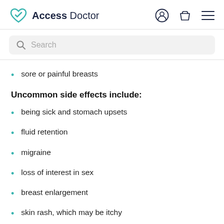Access Doctor
sore or painful breasts
Uncommon side effects include:
being sick and stomach upsets
fluid retention
migraine
loss of interest in sex
breast enlargement
skin rash, which may be itchy
Bleeding between periods should not last long